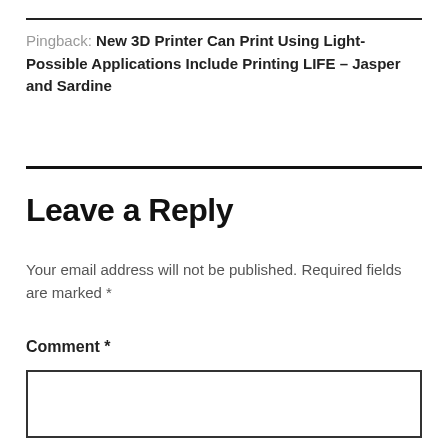Pingback: New 3D Printer Can Print Using Light- Possible Applications Include Printing LIFE – Jasper and Sardine
Leave a Reply
Your email address will not be published. Required fields are marked *
Comment *